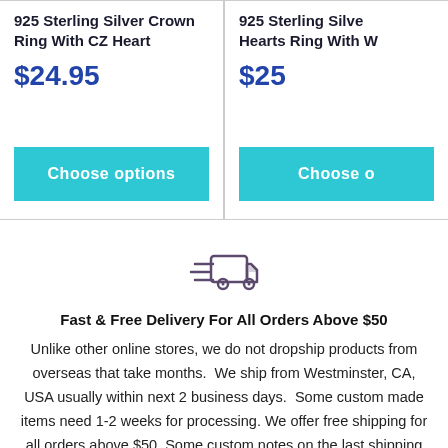925 Sterling Silver Crown Ring With CZ Heart
$24.95
Choose options
925 Sterling Silver Hearts Ring With W
$25
Choose o
[Figure (illustration): Delivery truck icon with speed lines indicating fast shipping]
Fast & Free Delivery For All Orders Above $50
Unlike other online stores, we do not dropship products from overseas that take months. We ship from Westminster, CA, USA usually within next 2 business days. Some custom made items need 1-2 weeks for processing. We offer free shipping for all orders above $50. Some notes on the last shipping line cut off.